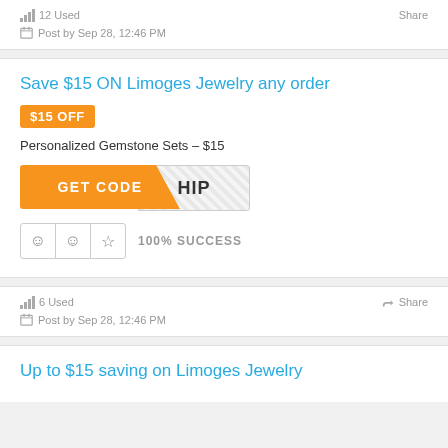12 Used   Share   Post by Sep 28, 12:46 PM
Save $15 ON Limoges Jewelry any order
$15 OFF
Personalized Gemstone Sets – $15
[Figure (other): GET CODE button with hatched code reveal area showing 'HIP']
100% SUCCESS
6 Used   Share   Post by Sep 28, 12:46 PM
Up to $15 saving on Limoges Jewelry